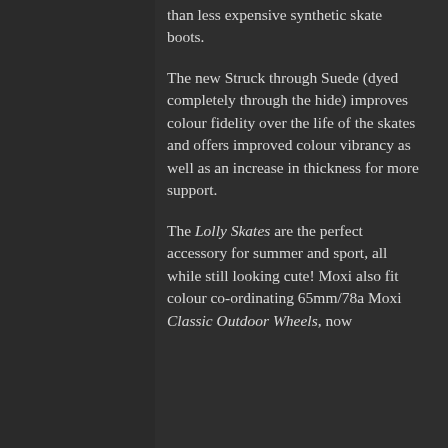than less expensive synthetic skate boots.
The new Struck through Suede (dyed completely through the hide) improves colour fidelity over the life of the skates and offers improved colour vibrancy as well as an increase in thickness for more support.
The Lolly Skates are the perfect accessory for summer and sport, all while still looking cute! Moxi also fit colour co-ordinating 65mm/78a Moxi Classic Outdoor Wheels, now